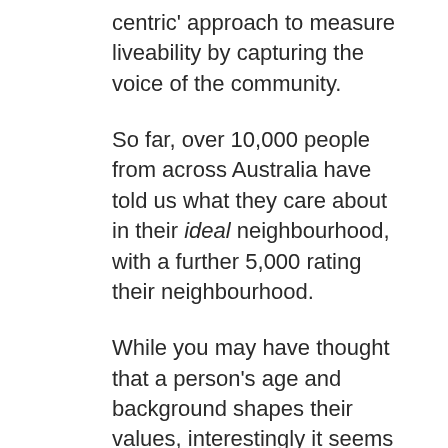centric' approach to measure liveability by capturing the voice of the community.
So far, over 10,000 people from across Australia have told us what they care about in their ideal neighbourhood, with a further 5,000 rating their neighbourhood.
While you may have thought that a person's age and background shapes their values, interestingly it seems to be where you live that really has impact.